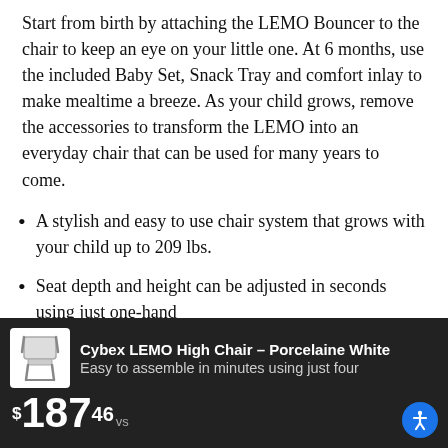Start from birth by attaching the LEMO Bouncer to the chair to keep an eye on your little one. At 6 months, use the included Baby Set, Snack Tray and comfort inlay to make mealtime a breeze. As your child grows, remove the accessories to transform the LEMO into an everyday chair that can be used for many years to come.
A stylish and easy to use chair system that grows with your child up to 209 lbs.
Seat depth and height can be adjusted in seconds using just one-hand
Anti-tip wheels help prevent tipping with active children and aids in portability
Easy to assemble in minutes using just four
[Figure (photo): Small product thumbnail image of Cybex LEMO High Chair in Porcelaine White]
Cybex LEMO High Chair – Porcelaine White
$187.46 vs